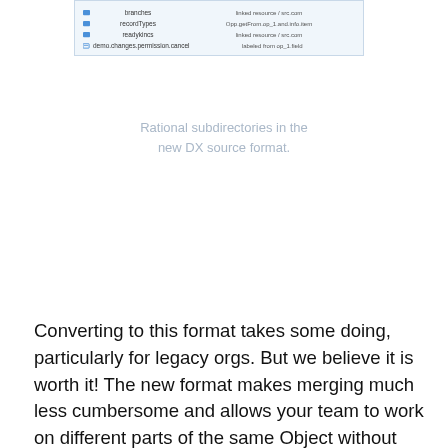[Figure (screenshot): Screenshot of Rational subdirectories in the new DX source format showing folder structure with items like branches, recordTypes, readykincs, and demo.changes.permission.cancel]
Rational subdirectories in the new DX source format.
Converting to this format takes some doing, particularly for legacy orgs. But we believe it is worth it! The new format makes merging much less cumbersome and allows your team to work on different parts of the same Object without clobbering each other. Git can be helpful in managing conflicts too, but if you're not using the most modern directory format, you're only getting a fraction of Git's efficacy in doing so. We automatically convert all of our customers to the Salesforce DX source format and we recommend